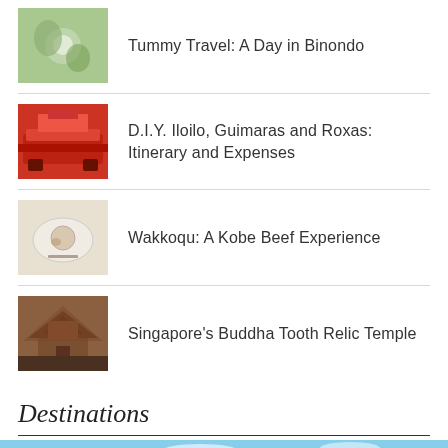Tummy Travel: A Day in Binondo
D.I.Y. Iloilo, Guimaras and Roxas: Itinerary and Expenses
Wakkoqu: A Kobe Beef Experience
Singapore's Buddha Tooth Relic Temple
Destinations
[Figure (photo): Landscape photo with blue sky and green trees visible at bottom of page]